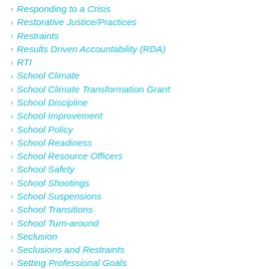Responding to a Crisis
Restorative Justice/Practices
Restraints
Results Driven Accountability (RDA)
RTI
School Climate
School Climate Transformation Grant
School Discipline
School Improvement
School Policy
School Readiness
School Resource Officers
School Safety
School Shootings
School Suspensions
School Transitions
School Turn-around
Seclusion
Seclusions and Restraints
Setting Professional Goals
Shared Leadership in Schools
Social Media
Social Problem-Solving Skills